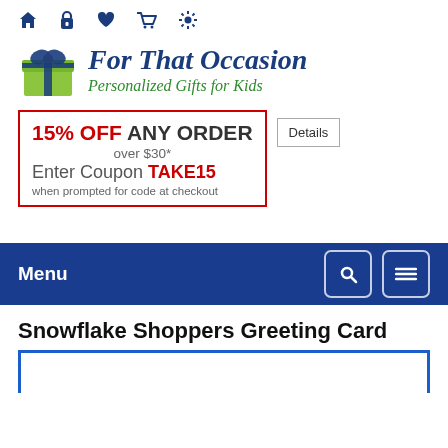Navigation icons: home, lock, heart, cart, settings
[Figure (logo): For That Occasion logo with green gift box and text 'For That Occasion - Personalized Gifts for Kids']
15% OFF ANY ORDER over $30* Enter Coupon TAKE15 when prompted for code at checkout
Details
Menu
Snowflake Shoppers Greeting Card
[Figure (photo): Product image area with blue border, partially visible]